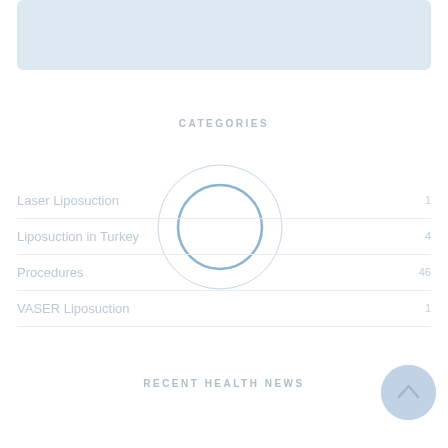[Figure (other): Light blue rectangular placeholder image area at the top of the page]
CATEGORIES
Laser Liposuction   1
Liposuction in Turkey   4
Procedures   46
VASER Liposuction   1
[Figure (other): Loading spinner circle overlay on the categories section]
RECENT HEALTH NEWS
[Figure (other): Scroll-to-top circular button in the bottom right corner]